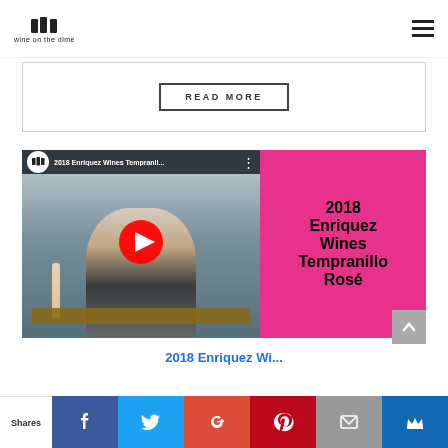wine on the dime
READ MORE
[Figure (screenshot): YouTube video thumbnail for '2018 Enriquez Wines Tempranillo Rosé' showing a man sitting on a couch with a wine bottle, with a pink right panel showing the wine name in large bold black text and a YouTube play button overlay.]
2018 Enriquez Wi...
Shares